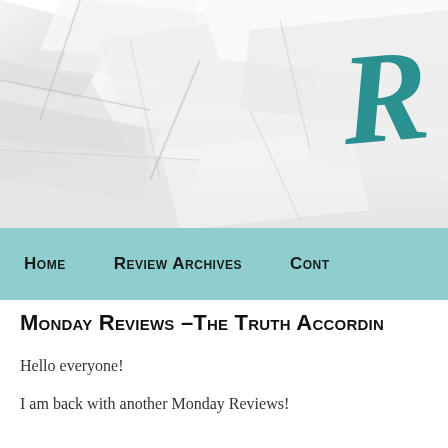[Figure (photo): Crumpled white paper background as website header image, with a teal/dark cyan cursive letter 'R' logo visible in the upper right area]
Home   Review Archives   Cont...
Monday Reviews -The Truth Accordin...
Hello everyone!
I am back with another Monday Reviews!